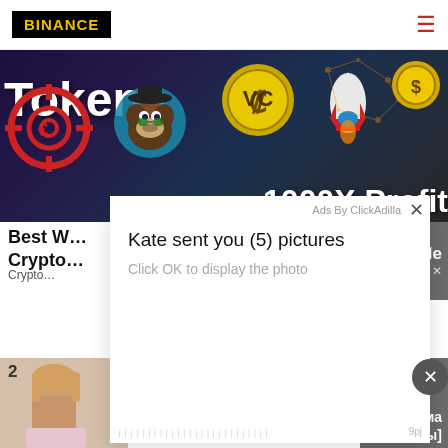BINANCE
[Figure (screenshot): Crypto tokens advertisement banner with text 'Tokens' and '1000X Profit', showing crypto icons: crosshair coin, monkey avatar, VC coin, rocket, gold coin on dark background]
Best W... Crypto... sale
Crypto... seconds X
[Figure (screenshot): Modal popup dialog showing 'Kate sent you (5) pictures' with subtitle 'Click OK to display the photo'. Ads By ClickAdilla label shown with close X button. Bottom right shows code '9pj'. Bottom left shows repeated characters footer text.]
2
сама ды]